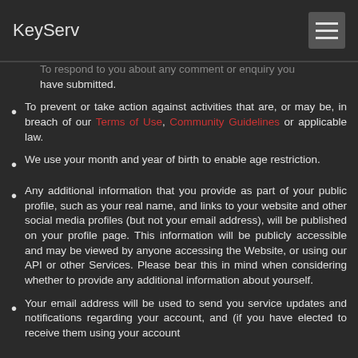KeyServ
To respond to you about any comment or enquiry you have submitted.
To prevent or take action against activities that are, or may be, in breach of our Terms of Use, Community Guidelines or applicable law.
We use your month and year of birth to enable age restriction.
Any additional information that you provide as part of your public profile, such as your real name, and links to your website and other social media profiles (but not your email address), will be published on your profile page. This information will be publicly accessible and may be viewed by anyone accessing the Website, or using our API or other Services. Please bear this in mind when considering whether to provide any additional information about yourself.
Your email address will be used to send you service updates and notifications regarding your account, and (if you have elected to receive them using your account...